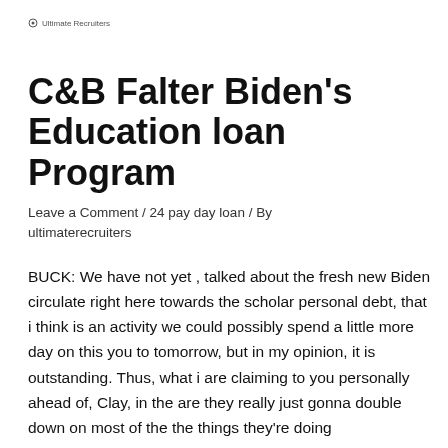Ultimate Recruiters
C&B Falter Biden’s Education loan Program
Leave a Comment / 24 pay day loan / By ultimaterecruiters
BUCK: We have not yet , talked about the fresh new Biden circulate right here towards the scholar personal debt, that i think is an activity we could possibly spend a little more day on this you to tomorrow, but in my opinion, it is outstanding. Thus, what i are claiming to you personally ahead of, Clay, in the are they really just gonna double down on most of the the things they're doing